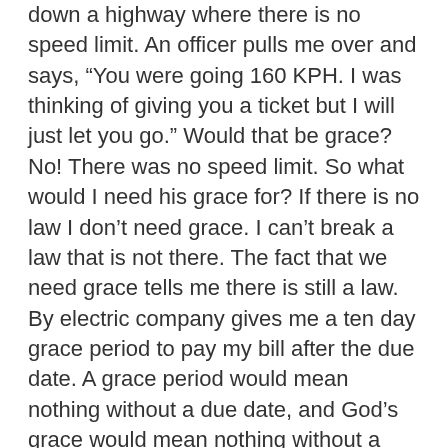down a highway where there is no speed limit. An officer pulls me over and says, “You were going 160 KPH. I was thinking of giving you a ticket but I will just let you go.” Would that be grace? No! There was no speed limit. So what would I need his grace for? If there is no law I don’t need grace. I can’t break a law that is not there. The fact that we need grace tells me there is still a law. By electric company gives me a ten day grace period to pay my bill after the due date. A grace period would mean nothing without a due date, and God’s grace would mean nothing without a law.
Lets now suppose I am driving down a highway where there is indeed a speed limit of 75 KPH. I am driving the speed limit. Can an officer pull me over and give me a speeding ticket? No. Why? Because I am in